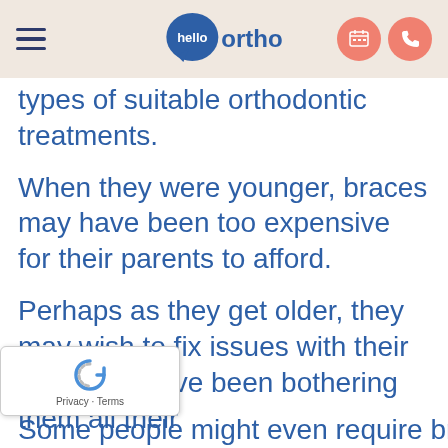hello ortho
types of suitable orthodontic treatments.
When they were younger, braces may have been too expensive for their parents to afford.
Perhaps as they get older, they may wish to fix issues with their teeth that have been bothering them all their lives.
[Figure (logo): reCAPTCHA badge with Privacy and Terms links]
Some people might even require braces